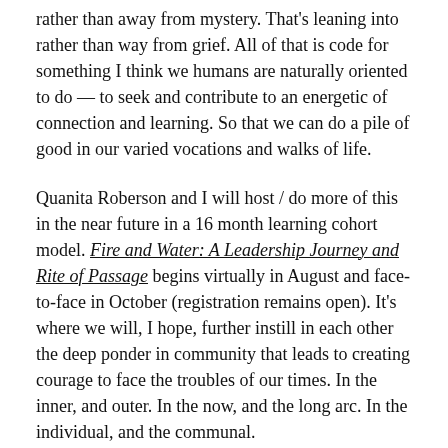rather than away from mystery. That's leaning into rather than way from grief. All of that is code for something I think we humans are naturally oriented to do — to seek and contribute to an energetic of connection and learning. So that we can do a pile of good in our varied vocations and walks of life.
Quanita Roberson and I will host / do more of this in the near future in a 16 month learning cohort model. Fire and Water: A Leadership Journey and Rite of Passage begins virtually in August and face-to-face in October (registration remains open). It's where we will, I hope, further instill in each other the deep ponder in community that leads to creating courage to face the troubles of our times. In the inner, and outer. In the now, and the long arc. In the individual, and the communal.
Yes, please join us. For the ponder. For the eons.